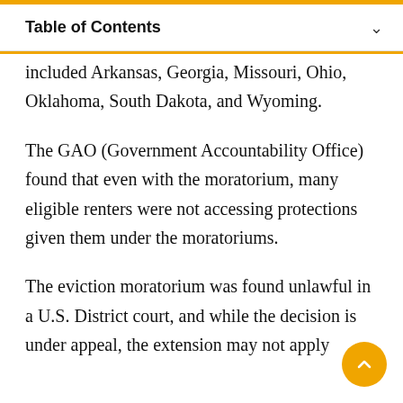Table of Contents
included Arkansas, Georgia, Missouri, Ohio, Oklahoma, South Dakota, and Wyoming.
The GAO (Government Accountability Office) found that even with the moratorium, many eligible renters were not accessing protections given them under the moratoriums.
The eviction moratorium was found unlawful in a U.S. District court, and while the decision is under appeal, the extension may not apply